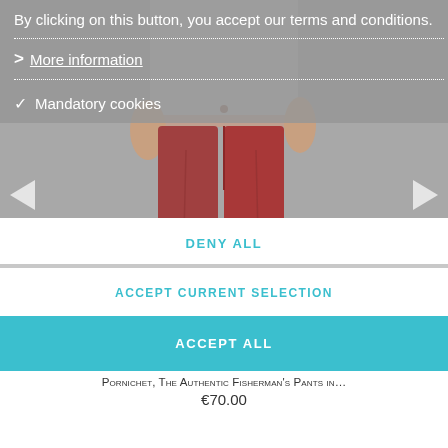[Figure (screenshot): E-commerce product page showing a person wearing rust/brick-red chino pants on a grey background, with a cookie consent overlay dialog on top. The overlay contains terms text, a 'More information' link, a 'Mandatory cookies' checkbox option, and three action buttons: DENY ALL, ACCEPT CURRENT SELECTION, and ACCEPT ALL (in teal/cyan).]
By clicking on this button, you accept our terms and conditions.
> More information
✓ Mandatory cookies
DENY ALL
ACCEPT CURRENT SELECTION
ACCEPT ALL
Pornichet, The Authentic Fisherman's Pants in…
€70.00